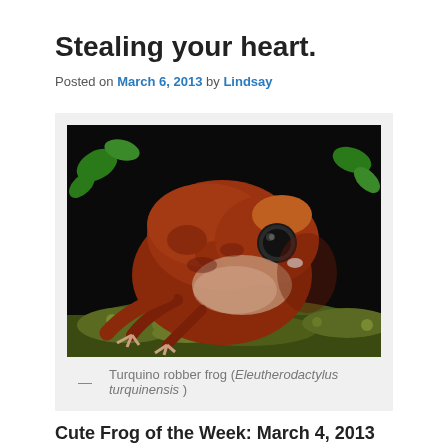Stealing your heart.
Posted on March 6, 2013 by Lindsay
[Figure (photo): Close-up photograph of a Turquino robber frog (Eleutherodactylus turquinensis), a reddish-brown frog sitting on green moss against a dark background.]
— Turquino robber frog (Eleutherodactylus turquinensis )
Cute Frog of the Week: March 4, 2013